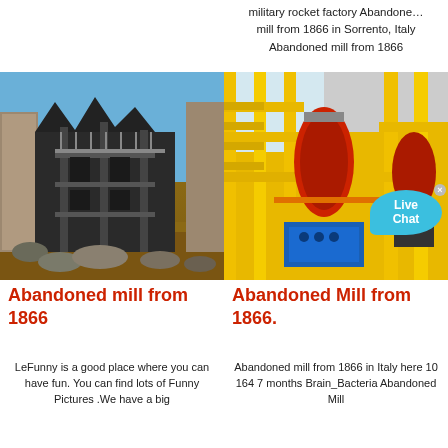military rocket factory Abandone…
mill from 1866 in Sorrento, Italy
Abandoned mill from 1866
[Figure (photo): Abandoned industrial mill building with dark steel structure against blue sky, on rocky terrain]
[Figure (photo): Yellow industrial machinery/mill equipment with red and blue components, with Live Chat bubble overlay]
Abandoned mill from 1866
Abandoned Mill from 1866.
LeFunny is a good place where you can have fun. You can find lots of Funny Pictures .We have a big
Abandoned mill from 1866 in Italy here 10 164 7 months Brain_Bacteria Abandoned Mill